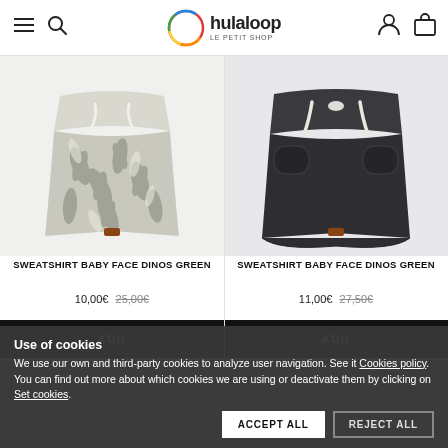hulaloop le petit shop - navigation header
[Figure (photo): Children's shorts with palm leaf print pattern in grey/white, with white drawstring tie at waist]
SWEATSHIRT BABY FACE DINOS GREEN
10,00€  25,00€
ADD
[Figure (photo): Children's dark grey/charcoal shorts with white drawstring tie and front pockets]
SWEATSHIRT BABY FACE DINOS GREEN
11,00€  27,50€
ADD
Use of cookies
We use our own and third-party cookies to analyze user navigation. See it Cookies policy. You can find out more about which cookies we are using or deactivate them by clicking on Set cookies.
ACCEPT ALL   REJECT ALL